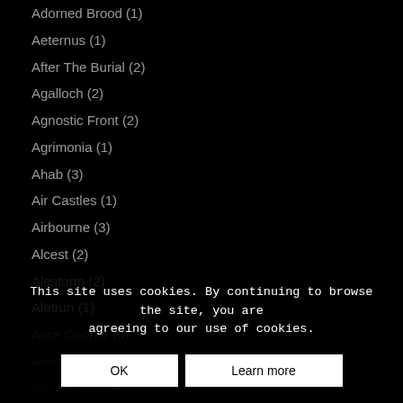Adorned Brood (1)
Aeternus (1)
After The Burial (2)
Agalloch (2)
Agnostic Front (2)
Agrimonia (1)
Ahab (3)
Air Castles (1)
Airbourne (3)
Alcest (2)
Alestorm (2)
Aletrun (1)
Alice Cooper (3)
Alien Weaponry (...)
All For Nothing (...)
All That Remains (1)
This site uses cookies. By continuing to browse the site, you are agreeing to our use of cookies.
OK
Learn more